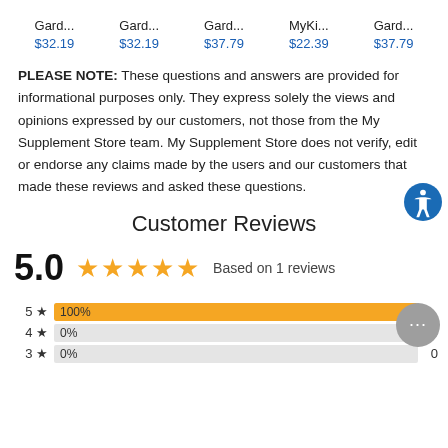| Product 1 | Product 2 | Product 3 | Product 4 | Product 5 |
| --- | --- | --- | --- | --- |
| Gard... | Gard... | Gard... | MyKi... | Gard... |
| $32.19 | $32.19 | $37.79 | $22.39 | $37.79 |
PLEASE NOTE: These questions and answers are provided for informational purposes only. They express solely the views and opinions expressed by our customers, not those from the My Supplement Store team. My Supplement Store does not verify, edit or endorse any claims made by the users and our customers that made these reviews and asked these questions.
Customer Reviews
[Figure (infographic): Customer rating summary: 5.0 with 5 gold stars, Based on 1 reviews. Bar chart showing 5-star=100%, 4-star=0%, 3-star=0%]